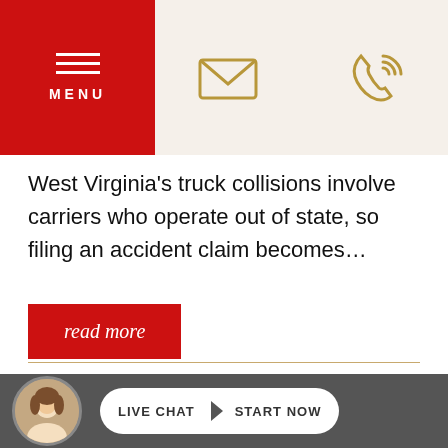[Figure (screenshot): Navigation header with red menu button (hamburger icon + MENU text), email envelope icon, and phone icon on beige background]
West Virginia's truck collisions involve carriers who operate out of state, so filing an accident claim becomes…
read more
Aggressive Drivers Can be
[Figure (photo): Live chat bar at bottom with female agent avatar, LIVE CHAT | START NOW button]